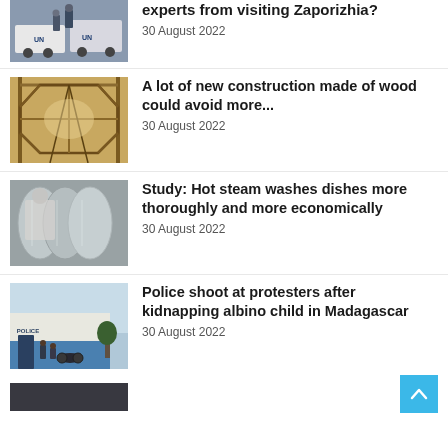[Figure (photo): UN vehicles with people standing near them]
experts from visiting Zaporizhia?
30 August 2022
[Figure (photo): Wooden construction frame interior]
A lot of new construction made of wood could avoid more...
30 August 2022
[Figure (photo): Person looking through metallic dishes in steamy environment]
Study: Hot steam washes dishes more thoroughly and more economically
30 August 2022
[Figure (photo): Police station building with blue and white exterior]
Police shoot at protesters after kidnapping albino child in Madagascar
30 August 2022
[Figure (photo): Partially visible image at bottom of page]